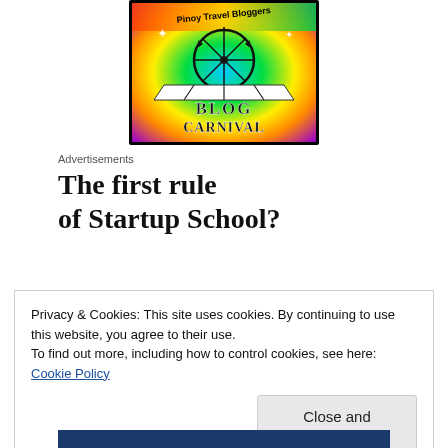[Figure (logo): Pinoy Travel Bloggers Blog Carnival logo with colorful rainbow background, ferris wheel illustration, and decorative text]
Advertisements
The first rule of Startup School?
Privacy & Cookies: This site uses cookies. By continuing to use this website, you agree to their use.
To find out more, including how to control cookies, see here: Cookie Policy
Close and accept